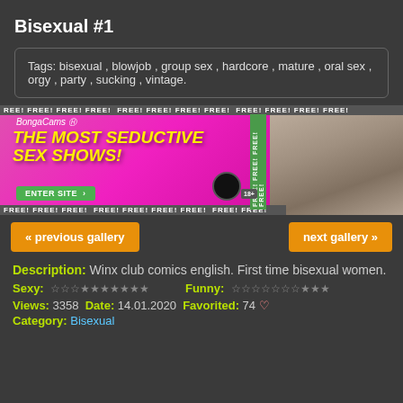Bisexual #1
Tags: bisexual , blowjob , group sex , hardcore , mature , oral sex , orgy , party , sucking , vintage.
[Figure (other): Advertisement banner for BongaCams webcam site with hot pink background, yellow text 'THE MOST SEDUCTIVE SEX SHOWS!', green 'ENTER SITE' button, FREE! ticker bars at top and bottom, and a photo panel on the right.]
« previous gallery
next gallery »
Description: Winx club comics english. First time bisexual women.
Sexy: ☆☆☆★★★★★★★   Funny: ☆☆☆☆☆☆☆★★★
Views: 3358  Date: 14.01.2020  Favorited: 74 ♥
Category: Bisexual